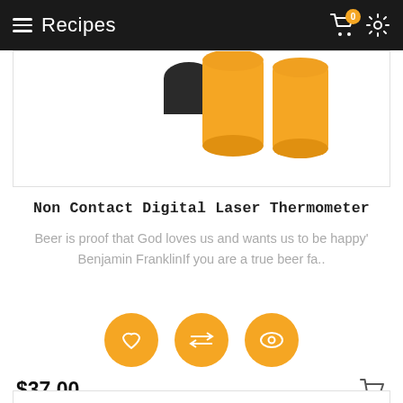≡ Recipes
[Figure (photo): Product image showing orange cylindrical containers against white background, partially visible at top of card]
Non Contact Digital Laser Thermometer
Beer is proof that God loves us and wants us to be happy' Benjamin FranklinIf you are a true beer fa..
[Figure (illustration): Three orange circular action buttons: heart/wishlist icon, compare arrows icon, eye/view icon]
$37.00